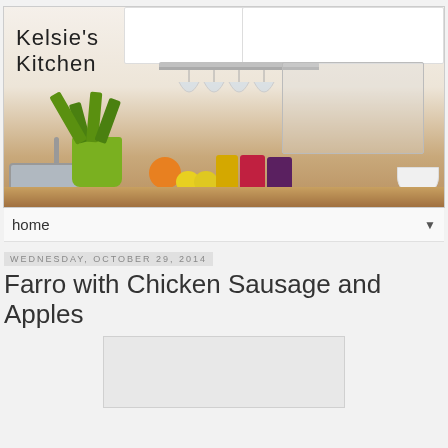[Figure (photo): Blog header image showing a kitchen countertop with a plant, sink, fruits, jars, cups on a rack, and white cabinets above. Text 'Kelsie's Kitchen' overlaid on the top left.]
home ▼
Wednesday, October 29, 2014
Farro with Chicken Sausage and Apples
[Figure (photo): Placeholder/loading image for blog post photo]